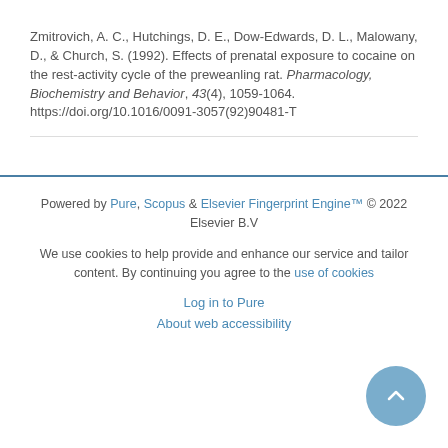Zmitrovich, A. C., Hutchings, D. E., Dow-Edwards, D. L., Malowany, D., & Church, S. (1992). Effects of prenatal exposure to cocaine on the rest-activity cycle of the preweanling rat. Pharmacology, Biochemistry and Behavior, 43(4), 1059-1064. https://doi.org/10.1016/0091-3057(92)90481-T
Powered by Pure, Scopus & Elsevier Fingerprint Engine™ © 2022 Elsevier B.V
We use cookies to help provide and enhance our service and tailor content. By continuing you agree to the use of cookies
Log in to Pure
About web accessibility